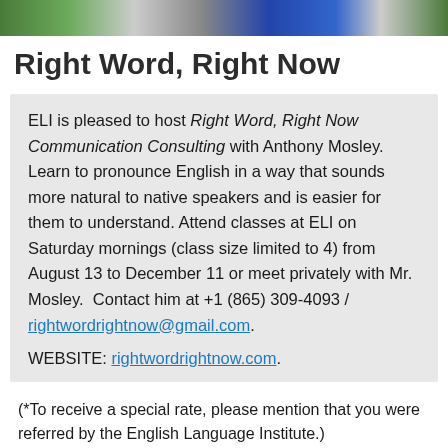[Figure (photo): Photo strip at top of page showing a person, blurred/cropped]
Right Word, Right Now
ELI is pleased to host Right Word, Right Now Communication Consulting with Anthony Mosley. Learn to pronounce English in a way that sounds more natural to native speakers and is easier for them to understand. Attend classes at ELI on Saturday mornings (class size limited to 4) from August 13 to December 11 or meet privately with Mr. Mosley.  Contact him at +1 (865) 309-4093 / rightwordrigntnow@gmail.com.
WEBSITE: rightwordrightnow.com.
(*To receive a special rate, please mention that you were referred by the English Language Institute.)